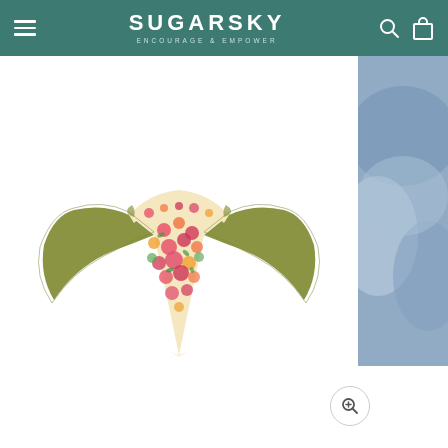SUGARSKY — ENCOURAGE & EMPOWER
[Figure (photo): Floral print bikini bottom with olive/khaki colored sides, displayed flat on white background. The bikini features a reversible design with a colorful liberty floral print (pink, orange, red, green flowers on cream) on one side and solid olive/army green on the other.]
[Figure (photo): Partial view of a second product image on the right side showing a blue/grey textured swimwear item or background.]